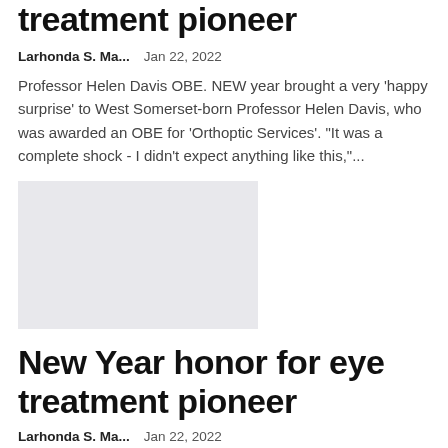treatment pioneer
Larhonda S. Ma...    Jan 22, 2022
Professor Helen Davis OBE. NEW year brought a very 'happy surprise' to West Somerset-born Professor Helen Davis, who was awarded an OBE for 'Orthoptic Services'. "It was a complete shock - I didn't expect anything like this,"...
[Figure (photo): Gray placeholder image for article photo]
New Year honor for eye treatment pioneer
Larhonda S. Ma...    Jan 22, 2022